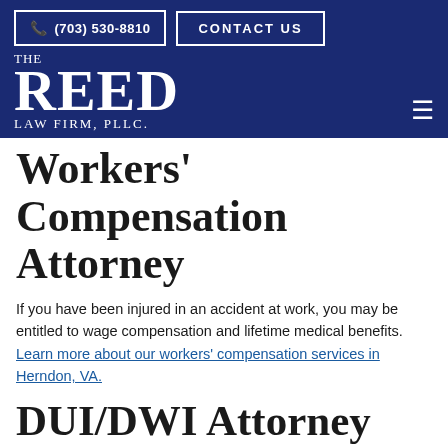Phone: (703) 530-8810 | CONTACT US | THE REED LAW FIRM, PLLC.
Workers' Compensation Attorney
If you have been injured in an accident at work, you may be entitled to wage compensation and lifetime medical benefits. Learn more about our workers' compensation services in Herndon, VA.
DUI/DWI Attorney
If you [English] with a driving under the